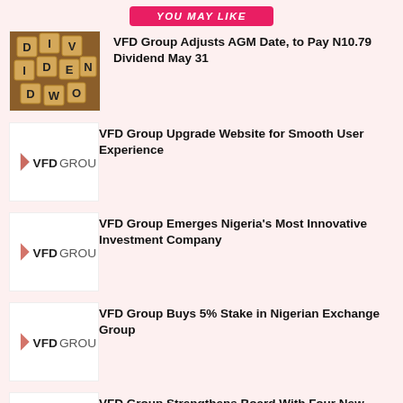YOU MAY LIKE
[Figure (photo): Scrabble tiles spelling DIVIDEND on a wooden surface]
VFD Group Adjusts AGM Date, to Pay N10.79 Dividend May 31
[Figure (logo): VFD Group logo]
VFD Group Upgrade Website for Smooth User Experience
[Figure (logo): VFD Group logo]
VFD Group Emerges Nigeria's Most Innovative Investment Company
[Figure (logo): VFD Group logo]
VFD Group Buys 5% Stake in Nigerian Exchange Group
[Figure (logo): VFD Group logo]
VFD Group Strengthens Board With Four New Directors